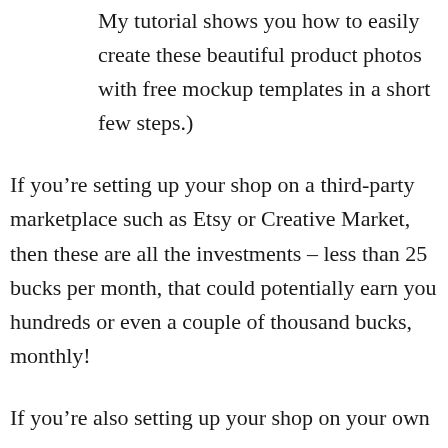My tutorial shows you how to easily create these beautiful product photos with free mockup templates in a short few steps.)
If you’re setting up your shop on a third-party marketplace such as Etsy or Creative Market, then these are all the investments – less than 25 bucks per month, that could potentially earn you hundreds or even a couple of thousand bucks, monthly!
If you’re also setting up your shop on your own